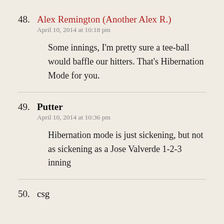48. Alex Remington (Another Alex R.)
April 10, 2014 at 10:18 pm
Some innings, I'm pretty sure a tee-ball would baffle our hitters. That's Hibernation Mode for you.
49. Putter
April 10, 2014 at 10:36 pm
Hibernation mode is just sickening, but not as sickening as a Jose Valverde 1-2-3 inning
50. csg